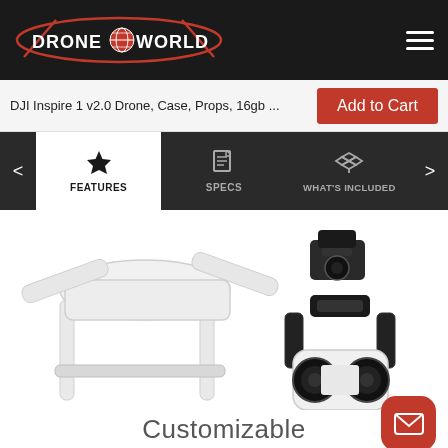Drone World
DJI Inspire 1 v2.0 Drone, Case, Props, 16gb ...
Add to Cart
FEATURES
SPECS
WHAT'S INCLUDED
[Figure (photo): DJI Inspire 1 drone body (white) partially visible upper left, and a detached DJI gimbal camera unit (black and white) shown in center-right area. A second smaller black gimbal mount shown upper right.]
Customizable